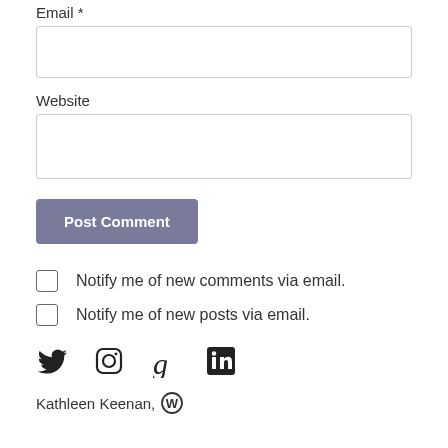Email *
Website
Post Comment
Notify me of new comments via email.
Notify me of new posts via email.
[Figure (other): Social media icons: Twitter, Instagram, Goodreads, LinkedIn]
Kathleen Keenan, [WordPress logo]